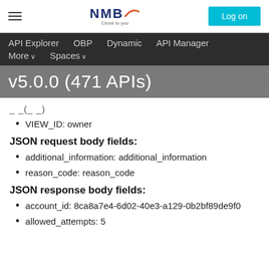NMB — Close to you | Log on
API Explorer   OBP   Dynamic   API Manager   More ∨   Spaces ∨
v5.0.0 (471 APIs)
VIEW_ID: owner
JSON request body fields:
additional_information: additional_information
reason_code: reason_code
JSON response body fields:
account_id: 8ca8a7e4-6d02-40e3-a129-0b2bf89de9f0
allowed_attempts: 5